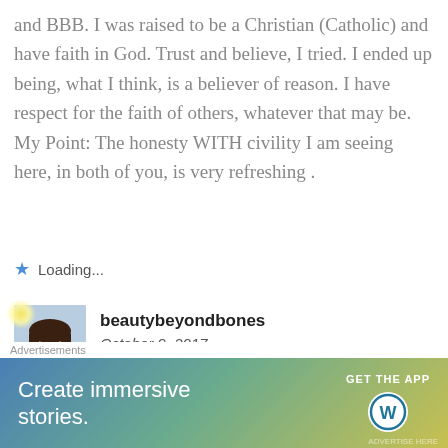and BBB. I was raised to be a Christian (Catholic) and have faith in God. Trust and believe, I tried. I ended up being, what I think, is a believer of reason. I have respect for the faith of others, whatever that may be. My Point: The honesty WITH civility I am seeing here, in both of you, is very refreshing .
Loading...
[Figure (photo): Profile photo of beautybeyondbones, a woman with long dark hair wearing a light blue top, with a yellow glow effect in top-left corner]
beautybeyondbones
October 9, 2017
thanks Eve, that means a lot 🙂 Yeah, Tony is a
[Figure (other): Close button (X in a circle) overlay]
Advertisements
[Figure (other): WordPress advertisement banner: 'Create immersive stories.' with GET THE APP button and WordPress logo]